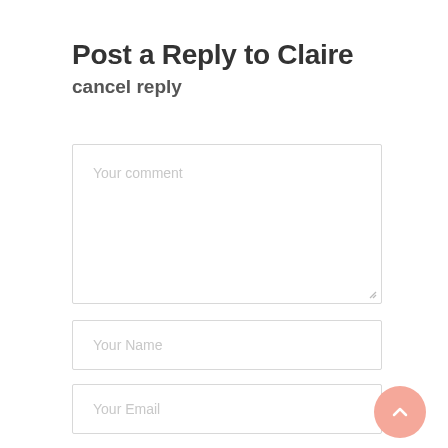Post a Reply to Claire
cancel reply
[Figure (screenshot): Comment form with textarea placeholder 'Your comment', resize handle at bottom right]
[Figure (screenshot): Input field with placeholder 'Your Name']
[Figure (screenshot): Input field with placeholder 'Your Email']
[Figure (other): Salmon/coral circular scroll-to-top button with upward chevron arrow]